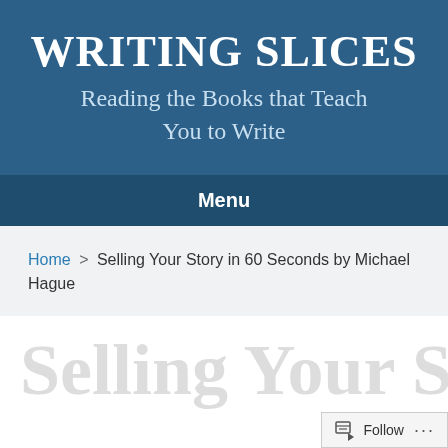WRITING SLICES
Reading the Books that Teach You to Write
Menu
Home > Selling Your Story in 60 Seconds by Michael Hague
Selling Your Stor...